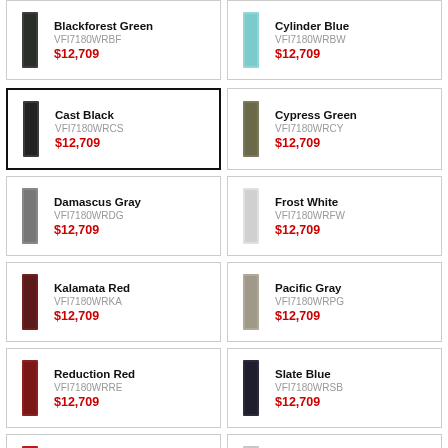Blackforest Green VFI7180WRBF $12,709
Cylinder Blue VFI7180WRBW $12,709
Cast Black VFI7180WRCS $12,709
Cypress Green VFI7180WRCY $12,709
Damascus Gray VFI7180WRDG $12,709
Frost White VFI7180WRFW $12,709
Kalamata Red VFI7180WRKA $12,709
Pacific Gray VFI7180WRPG $12,709
Reduction Red VFI7180WRRE $12,709
Slate Blue VFI7180WRSB $12,709
San Marzano Red VFI7180WRSM $12,709
Stainless Steel VFI7180WRSS $11,709
Vanilla Cream
White